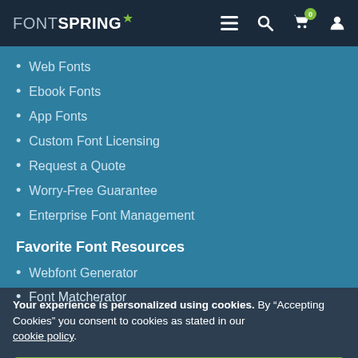FONTSPRING — navigation header with menu, search, cart (0), and user icons
Web Fonts
Ebook Fonts
App Fonts
Custom Font Licensing
Request a Quote
Worry-Free Guarantee
Enterprise Font Management
Favorite Font Resources
Webfont Generator
Font Matcherator
Your experience is personalized using cookies. By “Accepting Cookies” you consent to cookies as stated in our cookie policy.
Accept Cookies